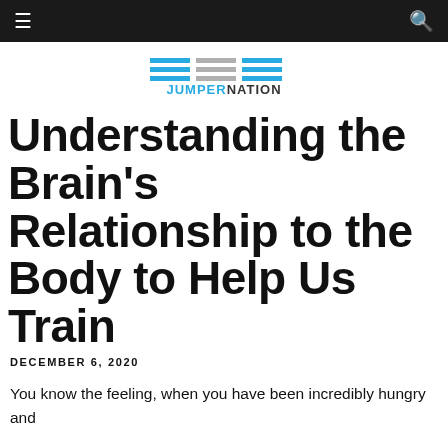≡  🔍
[Figure (logo): JumperNation logo with horizontal bar graphic above the text JUMPERNATION]
Understanding the Brain's Relationship to the Body to Help Us Train
DECEMBER 6, 2020
You know the feeling, when you have been incredibly hungry and